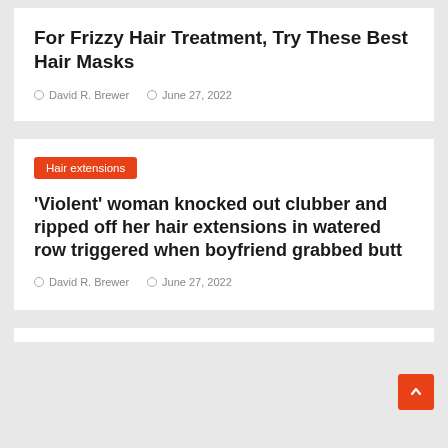For Frizzy Hair Treatment, Try These Best Hair Masks
David R. Brewer  |  June 27, 2022
Hair extensions
'Violent' woman knocked out clubber and ripped off her hair extensions in watered row triggered when boyfriend grabbed butt
David R. Brewer  |  June 27, 2022